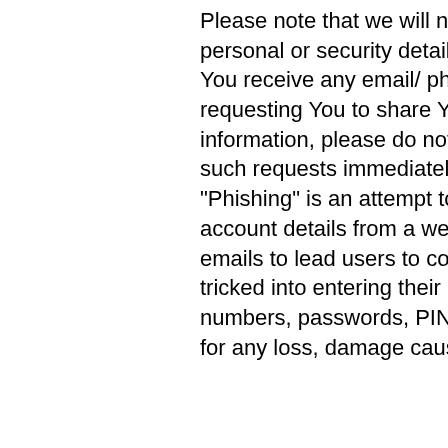Please note that we will not require you to disclose your personal or security detail by email or other communication. If You receive any email/ phone call/ SMS or other communication requesting You to share Your personal/security/financial information, please do not respond to such requests and delete such requests immediately. "Phishing" is an attempt to steal personal details and financial account details from a website user. Such “Phishers” use fake emails to lead users to counterfeit websites where the user is tricked into entering their personal details such as credit card numbers, passwords, PIN etc. We shall not be held responsible for any loss, damage caused by responding to such emails